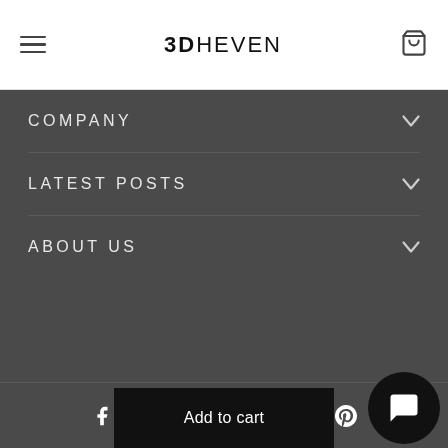3DHEVEN
COMPANY
LATEST POSTS
ABOUT US
[Figure (infographic): Social media icons row: Facebook, Twitter, Instagram, Tumblr, YouTube, LinkedIn, Pinterest]
Add to cart